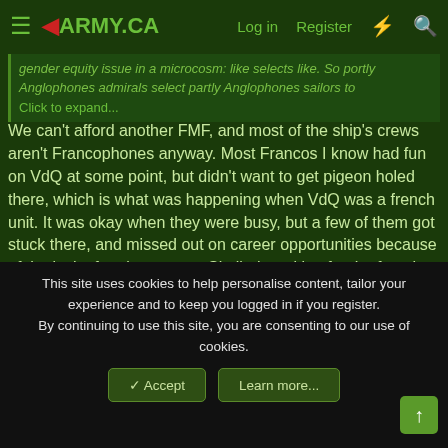ARMY.CA — Log in | Register
gender equity issue in a microcosm: like selects like. So partly Anglophones admirals select partly Anglophones sailors to... Click to expand...
We can't afford another FMF, and most of the ship's crews aren't Francophones anyway. Most Francos I know had fun on VdQ at some point, but didn't want to get pigeon holed there, which is what was happening when VdQ was a french unit. It was okay when they were busy, but a few of them got stuck there, and missed out on career opportunities because of the lack of replacements. Similarly waiting for the french versions of the trade courses delayed their career, so most did it in English. Not a big deal for the officers who cycle on/off a lot and don't typically jetty jump, but it was really bad for the trades.

All of our shore equipment for trial support is located on the two
This site uses cookies to help personalise content, tailor your experience and to keep you logged in if you register.
By continuing to use this site, you are consenting to our use of cookies.